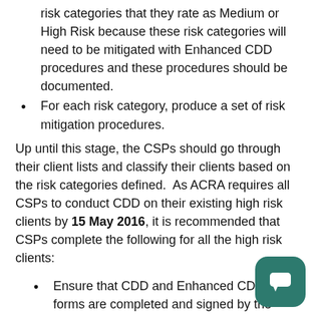risk categories that they rate as Medium or High Risk because these risk categories will need to be mitigated with Enhanced CDD procedures and these procedures should be documented.
For each risk category, produce a set of risk mitigation procedures.
Up until this stage, the CSPs should go through their client lists and classify their clients based on the risk categories defined.  As ACRA requires all CSPs to conduct CDD on their existing high risk clients by 15 May 2016, it is recommended that CSPs complete the following for all the high risk clients:
Ensure that CDD and Enhanced CDD forms are completed and signed by the customers.
Ensure that copies of identification documents are available for identification.